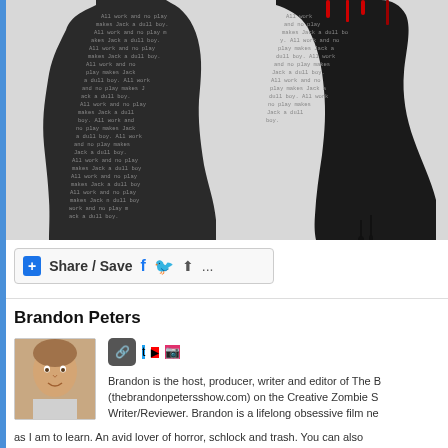[Figure (illustration): Black and white horror-themed illustration showing two silhouetted figures (referencing The Shining) filled with typewritten text repeating 'All work and no play makes Jack a dull boy.' The right figure has red/blood drips at the top.]
Share / Save
Brandon Peters
Brandon is the host, producer, writer and editor of The B (thebrandonpetersshow.com) on the Creative Zombie S Writer/Reviewer. Brandon is a lifelong obsessive film ne as I am to learn. An avid lover of horror, schlock and trash. You can also